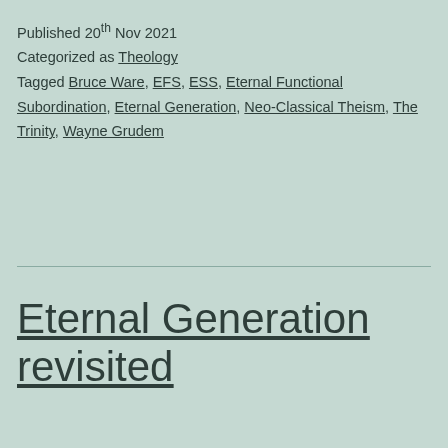Published 20th Nov 2021
Categorized as Theology
Tagged Bruce Ware, EFS, ESS, Eternal Functional Subordination, Eternal Generation, Neo-Classical Theism, The Trinity, Wayne Grudem
Eternal Generation revisited